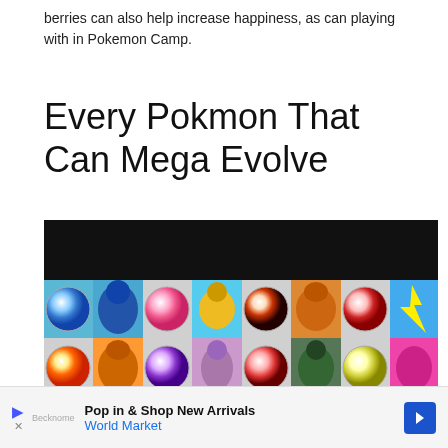berries can also help increase happiness, as can playing with in Pokemon Camp.
Every Pokmon That Can Mega Evolve
[Figure (photo): Grid of Pokemon Mega Evolution images showing various Mega Stones (colorful marble-like orbs) alternating with Pokemon character art including Mega Charizard, Mega Lucario, Mega Pidgeot, Mega Aerodactyl, Mega Mewtwo, and other Mega-evolved Pokemon, on a dark background at top.]
Pop in & Shop New Arrivals World Market